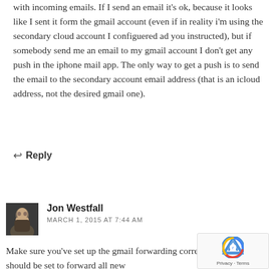with incoming emails. If I send an email it's ok, because it looks like I sent it form the gmail account (even if in reality i'm using the secondary cloud account I configuered ad you instructed), but if somebody send me an email to my gmail account I don't get any push in the iphone mail app. The only way to get a push is to send the email to the secondary account email address (that is an icloud address, not the desired gmail one).
↩ Reply
[Figure (photo): Avatar photo of Jon Westfall, a man with short brown hair and a beard, wearing a dark jacket, against a dark background.]
Jon Westfall
MARCH 1, 2015 AT 7:44 AM
Make sure you've set up the gmail forwarding correctly – gmail should be set to forward all new